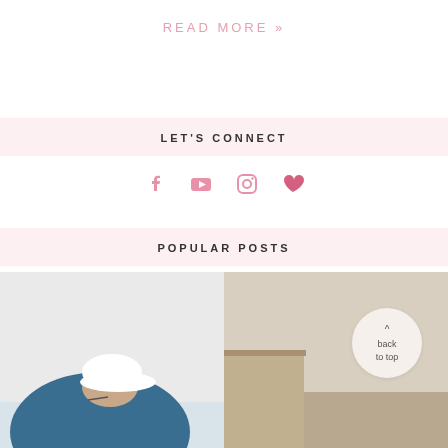READ MORE »
LET'S CONNECT
[Figure (infographic): Social media icons: Facebook, YouTube, Instagram, and a heart/Bloglovin icon in pink]
POPULAR POSTS
[Figure (photo): Two side-by-side photos: left shows a man in a blue shirt and white cap bending over; right shows an interior room scene with a 'back to top' button overlay]